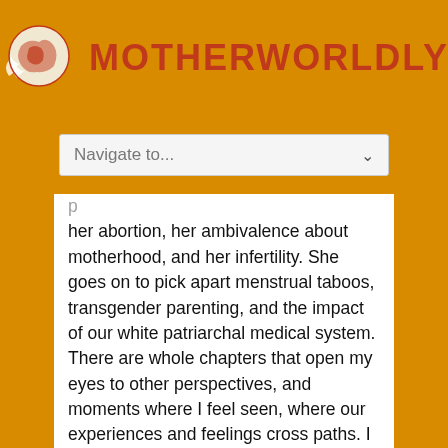[Figure (logo): Motherworldly logo: orange globe with flame-like shapes and red text 'MOTHERWORLDLY']
Navigate to...
her abortion, her ambivalence about motherhood, and her infertility. She goes on to pick apart menstrual taboos, transgender parenting, and the impact of our white patriarchal medical system. There are whole chapters that open my eyes to other perspectives, and moments where I feel seen, where our experiences and feelings cross paths. I love to read a well-referenced book, and Agarwal writes as though all the research is at her fingertips, supporting her critical evaluation of